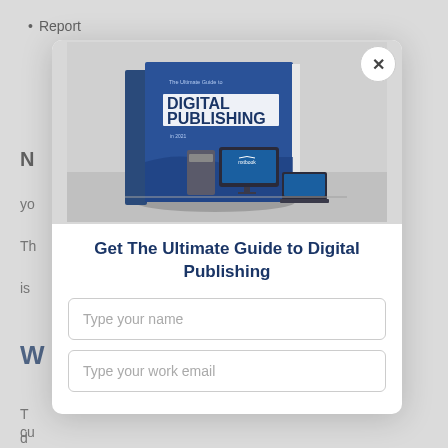Report
[Figure (illustration): 3D render of a book titled 'The Ultimate Guide to Digital Publishing in 2021' displayed with a desktop computer and laptop, set against a light gray background. The book has a blue cover with white text.]
Get The Ultimate Guide to Digital Publishing
Type your name
Type your work email